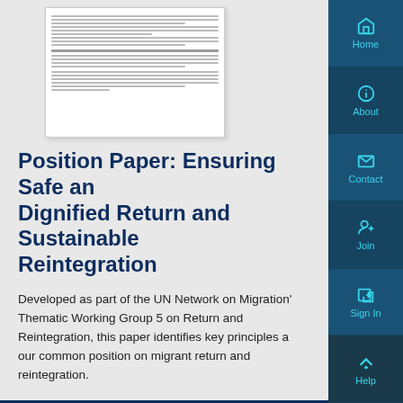[Figure (other): Small thumbnail preview of a document page showing text lines]
Position Paper: Ensuring Safe and Dignified Return and Sustainable Reintegration
Developed as part of the UN Network on Migration's Thematic Working Group 5 on Return and Reintegration, this paper identifies key principles a our common position on migrant return and reintegration.
Date of publication: 31 March 2021
Source: UN Network on Migration
Information Type: Other